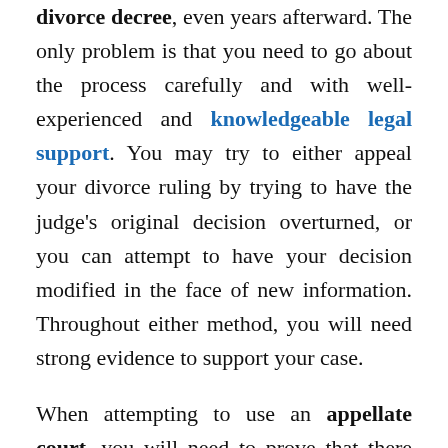divorce decree, even years afterward. The only problem is that you need to go about the process carefully and with well-experienced and knowledgeable legal support. You may try to either appeal your divorce ruling by trying to have the judge's original decision overturned, or you can attempt to have your decision modified in the face of new information. Throughout either method, you will need strong evidence to support your case.
When attempting to use an appellate court, you will need to prove that there were errors in the original divorce court case that caused the rulings to be unfair. When appealing a